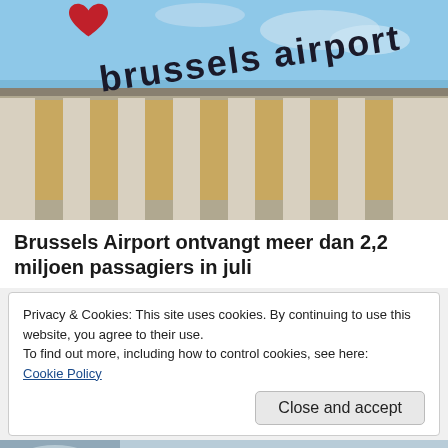[Figure (photo): Exterior photo of Brussels Airport building with large 'brussels airport' signage and red logo against blue sky]
Brussels Airport ontvangt meer dan 2,2 miljoen passagiers in juli
Privacy & Cookies: This site uses cookies. By continuing to use this website, you agree to their use.
To find out more, including how to control cookies, see here:
Cookie Policy
Close and accept
[Figure (photo): Partial bottom photo showing brussels airport with aircraft visible]